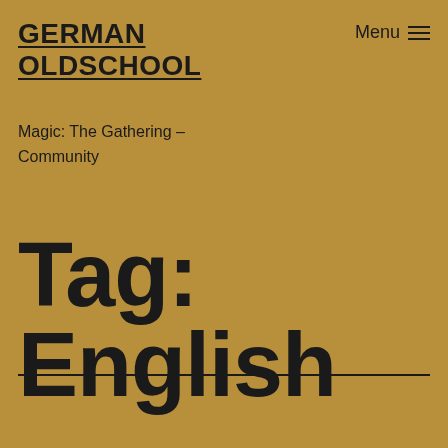GERMAN OLDSCHOOL
Menu ≡
Magic: The Gathering – Community
Tag: English